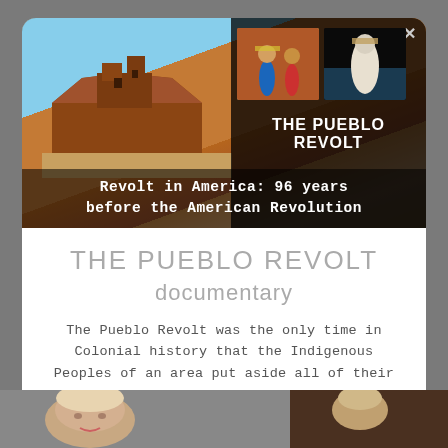[Figure (screenshot): Video thumbnail showing adobe/pueblo ruins under blue sky on left, with overlay panel on right showing two smaller thumbnails of Indigenous dancers and ceremonies, plus text 'THE PUEBLO REVOLT' and subtitle 'Revolt in America: 96 years before the American Revolution']
THE PUEBLO REVOLT documentary
The Pueblo Revolt was the only time in Colonial history that the Indigenous Peoples of an area put aside all of their differences & banded together to oust the European invader
[Figure (photo): Bottom portion of page showing a person's face/head partially visible]